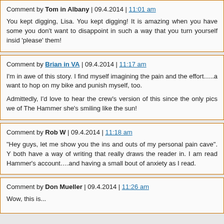Comment by Tom in Albany | 09.4.2014 | 11:01 am

You kept digging, Lisa. You kept digging! It is amazing when you have some you don't want to disappoint in such a way that you turn yourself insid 'please' them!
Comment by Brian in VA | 09.4.2014 | 11:17 am

I'm in awe of this story. I find myself imagining the pain and the effort.....a want to hop on my bike and punish myself, too.

Admittedly, I'd love to hear the crew's version of this since the only pics we of The Hammer she's smiling like the sun!
Comment by Rob W | 09.4.2014 | 11:18 am

"Hey guys, let me show you the ins and outs of my personal pain cave". Y both have a way of writing that really draws the reader in. I am read Hammer's account....and having a small bout of anxiety as I read.
Comment by Don Mueller | 09.4.2014 | 11:26 am